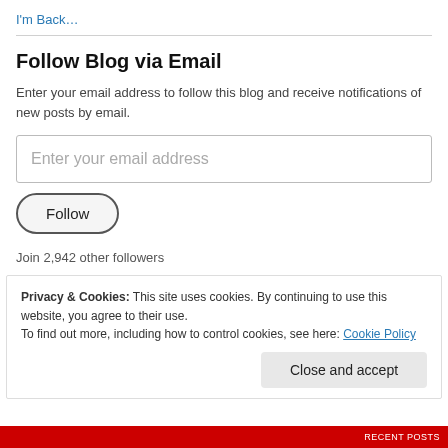I'm Back…
Follow Blog via Email
Enter your email address to follow this blog and receive notifications of new posts by email.
Enter your email address
Follow
Join 2,942 other followers
Privacy & Cookies: This site uses cookies. By continuing to use this website, you agree to their use. To find out more, including how to control cookies, see here: Cookie Policy
Close and accept